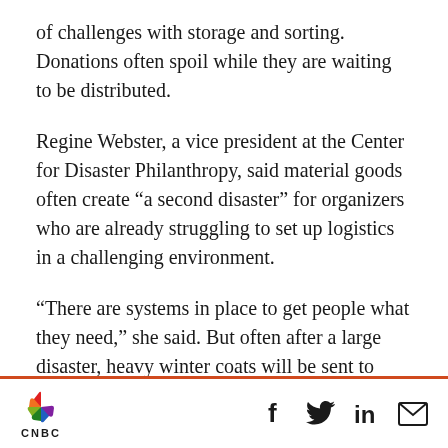of challenges with storage and sorting. Donations often spoil while they are waiting to be distributed.
Regine Webster, a vice president at the Center for Disaster Philanthropy, said material goods often create “a second disaster” for organizers who are already struggling to set up logistics in a challenging environment.
“There are systems in place to get people what they need,” she said. But often after a large disaster, heavy winter coats will be sent to relieve people in warm climates and other snafus. “It’s
[Figure (logo): CNBC logo with peacock symbol on the left, and social media icons (Facebook, Twitter, LinkedIn, Email) on the right, separated by an orange-red horizontal rule.]